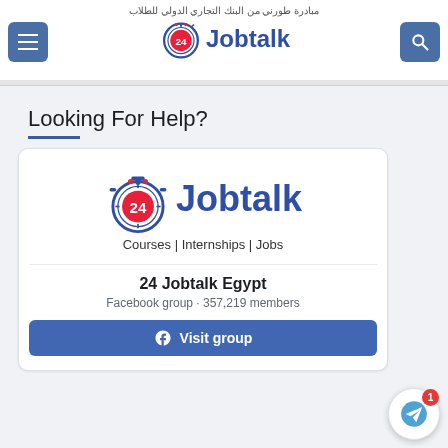مبادرة طورني من البنك التجاري الدولي للطلاب
[Figure (logo): 24 Jobtalk logo in header with stopwatch icon and bold blue text]
Looking For Help?
[Figure (logo): 24 Jobtalk logo with stopwatch icon, blue text, and tagline Courses | Internships | Jobs]
24 Jobtalk Egypt
Facebook group · 357,219 members
Visit group